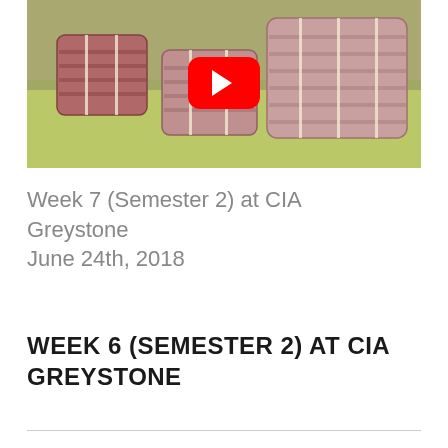[Figure (photo): Thumbnail of rolled meat cuts on a green cutting board with a YouTube play button overlay]
Week 7 (Semester 2) at CIA Greystone June 24th, 2018
WEEK 6 (SEMESTER 2) AT CIA GREYSTONE